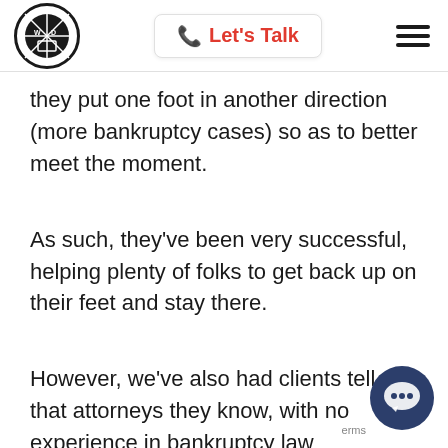Let's Talk
they put one foot in another direction (more bankruptcy cases) so as to better meet the moment.
As such, they've been very successful, helping plenty of folks to get back up on their feet and stay there.
However, we've also had clients tell us that attorneys they know, with no experience in bankruptcy law whatsoever, have started offering